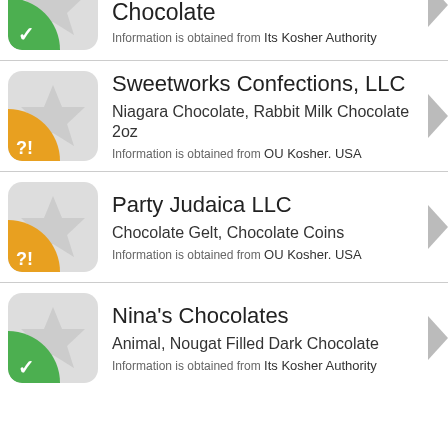Bomb, Caramel Sauce Dark Chocolate. Information is obtained from Its Kosher Authority
Sweetworks Confections, LLC. Niagara Chocolate, Rabbit Milk Chocolate 2oz. Information is obtained from OU Kosher. USA
Party Judaica LLC. Chocolate Gelt, Chocolate Coins. Information is obtained from OU Kosher. USA
Nina's Chocolates. Animal, Nougat Filled Dark Chocolate. Information is obtained from Its Kosher Authority